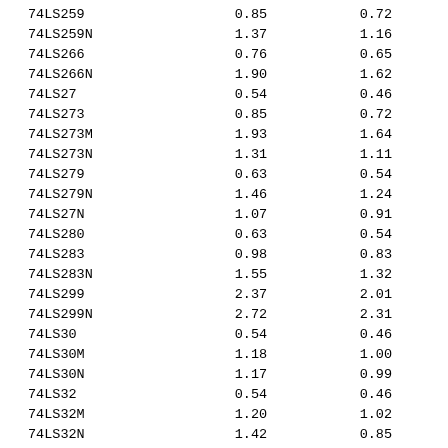| 74LS259 | 0.85 | 0.72 |
| 74LS259N | 1.37 | 1.16 |
| 74LS266 | 0.76 | 0.65 |
| 74LS266N | 1.90 | 1.62 |
| 74LS27 | 0.54 | 0.46 |
| 74LS273 | 0.85 | 0.72 |
| 74LS273M | 1.93 | 1.64 |
| 74LS273N | 1.31 | 1.11 |
| 74LS279 | 0.63 | 0.54 |
| 74LS279N | 1.46 | 1.24 |
| 74LS27N | 1.07 | 0.91 |
| 74LS280 | 0.63 | 0.54 |
| 74LS283 | 0.98 | 0.83 |
| 74LS283N | 1.55 | 1.32 |
| 74LS299 | 2.37 | 2.01 |
| 74LS299N | 2.72 | 2.31 |
| 74LS30 | 0.54 | 0.46 |
| 74LS30M | 1.18 | 1.00 |
| 74LS30N | 1.17 | 0.99 |
| 74LS32 | 0.54 | 0.46 |
| 74LS32M | 1.20 | 1.02 |
| 74LS32N | 1.42 | 0.85 |